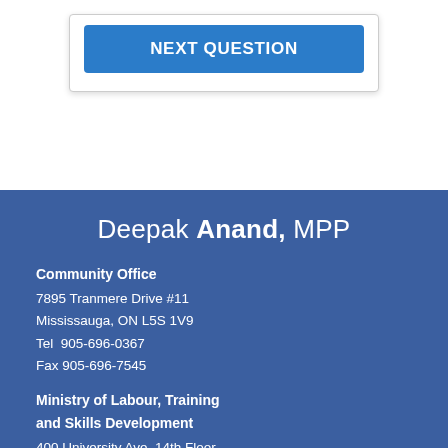NEXT QUESTION
Deepak Anand, MPP
Community Office
7895 Tranmere Drive #11
Mississauga, ON L5S 1V9
Tel  905-696-0367
Fax 905-696-7545
Ministry of Labour, Training and Skills Development
400 University Ave, 14th Floor
Toronto, ON M7A 1T7
Tel  416-326-7538